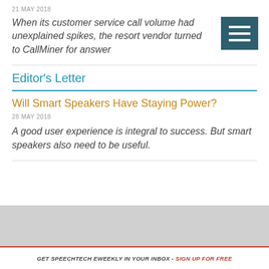21 MAY 2018
When its customer service call volume had unexplained spikes, the resort vendor turned to CallMiner for answers
Editor's Letter
Will Smart Speakers Have Staying Power?
28 MAY 2018
A good user experience is integral to success. But smart speakers also need to be useful.
GET SPEECHTECH EWEEKLY IN YOUR INBOX - SIGN UP FOR FREE